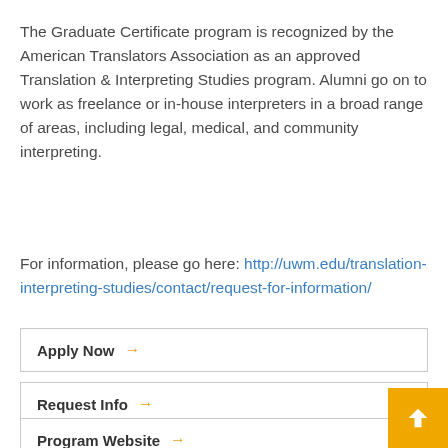The Graduate Certificate program is recognized by the American Translators Association as an approved Translation & Interpreting Studies program. Alumni go on to work as freelance or in-house interpreters in a broad range of areas, including legal, medical, and community interpreting.
For information, please go here: http://uwm.edu/translation-interpreting-studies/contact/request-for-information/
Apply Now →
Request Info →
Program Website →